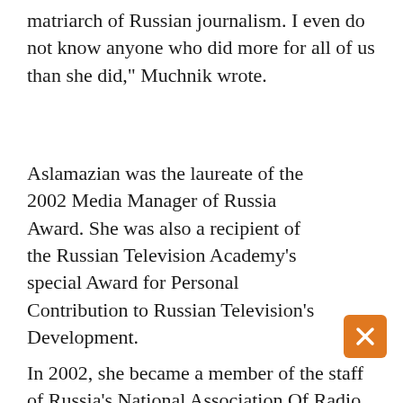matriarch of Russian journalism. I even do not know anyone who did more for all of us than she did," Muchnik wrote.
Aslamazian was the laureate of the 2002 Media Manager of Russia Award. She was also a recipient of the Russian Television Academy's special Award for Personal Contribution to Russian Television's Development.
In 2002, she became a member of the staff of Russia's National Association Of Radio and Television Broadcasters.
Five years later, she was excluded from the association after authorities launched a criminal case against her, accusing her of "foreign-currency smuggling" for having 9,500 euros in